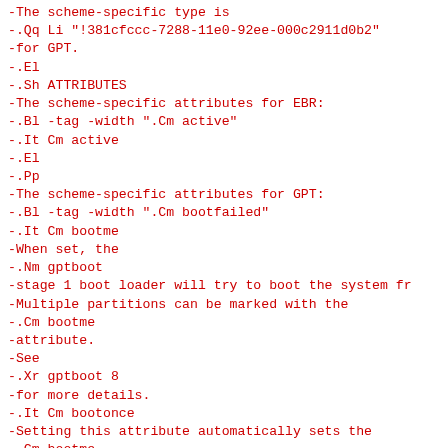-The scheme-specific type is
-.Qq Li "!381cfccc-7288-11e0-92ee-000c2911d0b2"
-for GPT.
-.El
-.Sh ATTRIBUTES
-The scheme-specific attributes for EBR:
-.Bl -tag -width ".Cm active"
-.It Cm active
-.El
-.Pp
-The scheme-specific attributes for GPT:
-.Bl -tag -width ".Cm bootfailed"
-.It Cm bootme
-When set, the
-.Nm gptboot
-stage 1 boot loader will try to boot the system fr
-Multiple partitions can be marked with the
-.Cm bootme
-attribute.
-See
-.Xr gptboot 8
-for more details.
-.It Cm bootonce
-Setting this attribute automatically sets the
-.Cm bootme
-attribute.
-When set, the
-.Nm gptboot
-stage 1 boot loader will try to boot the system fr
-Multiple partitions can be marked with the